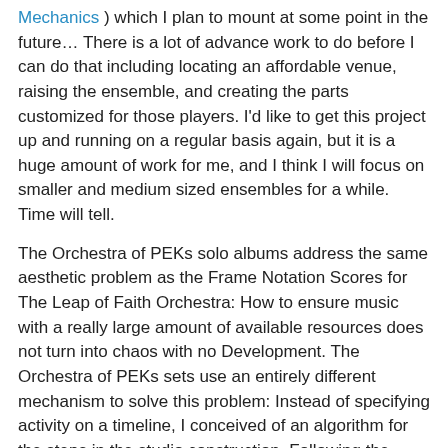Mechanics ) which I plan to mount at some point in the future… There is a lot of advance work to do before I can do that including locating an affordable venue, raising the ensemble, and creating the parts customized for those players. I'd like to get this project up and running on a regular basis again, but it is a huge amount of work for me, and I think I will focus on smaller and medium sized ensembles for a while. Time will tell.
The Orchestra of PEKs solo albums address the same aesthetic problem as the Frame Notation Scores for The Leap of Faith Orchestra: How to ensure music with a really large amount of available resources does not turn into chaos with no Development. The Orchestra of PEKs sets use an entirely different mechanism to solve this problem: Instead of specifying activity on a timeline, I conceived of an algorithm for the steps in the studio construction. Following the algorithm results in a work which is compositional, in that it is planned, while all of the sounds are still improvised
The first step is to prepare Premixes (sometimes as long as the whole CD) of multiple tracks with instruments from the same Timbre Set. These Premixes have used the Timbre…